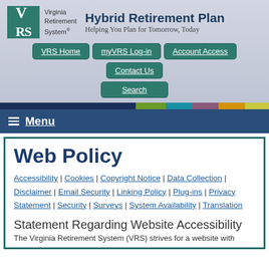Virginia Retirement System® — Hybrid Retirement Plan — Helping You Plan for Tomorrow, Today
VRS Home | myVRS Log-in | Account Access | Contact Us | Search
Menu
Web Policy
Accessibility | Cookies | Copyright Notice | Data Collection | Disclaimer | Email Security | Linking Policy | Plug-ins | Privacy Statement | Security | Surveys | System Availability | Translation
Statement Regarding Website Accessibility
The Virginia Retirement System (VRS) strives for a website with